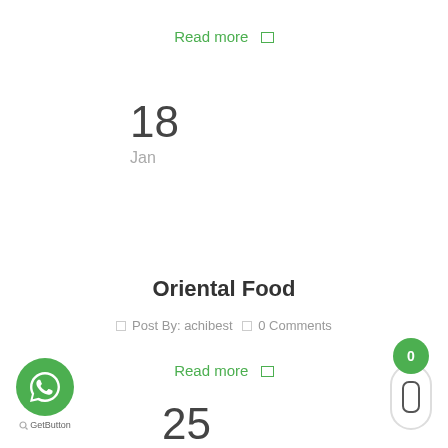Read more ▷
18
Jan
Oriental Food
Post By: achibest  |  0 Comments
Read more ▷
25
[Figure (logo): WhatsApp GetButton icon — green circle with white WhatsApp phone/chat logo, label 'GetButton' below]
[Figure (other): Green notification badge showing '0' above a rounded rectangle scroll widget]